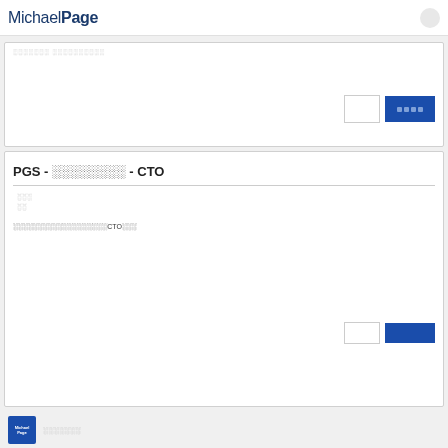MichaelPage
░░░░░░░ ░░░░░░░░░░
░░░░
PGS - ░░░░░░░░ - CTO
░░░
░░
░░░░░░░░░░░░░░░░░░░CTO░░░
MichaelPage ░░░░░░░